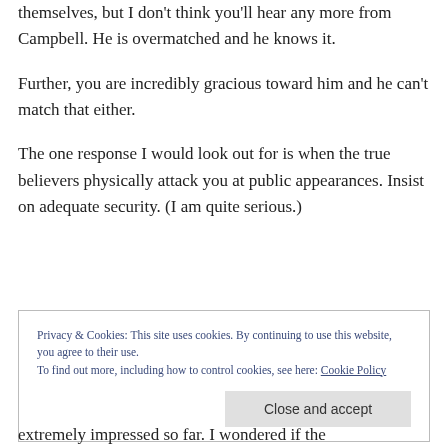themselves, but I don't think you'll hear any more from Campbell. He is overmatched and he knows it.
Further, you are incredibly gracious toward him and he can't match that either.
The one response I would look out for is when the true believers physically attack you at public appearances. Insist on adequate security. (I am quite serious.)
Privacy & Cookies: This site uses cookies. By continuing to use this website, you agree to their use.
To find out more, including how to control cookies, see here: Cookie Policy
extremely impressed so far. I wondered if the